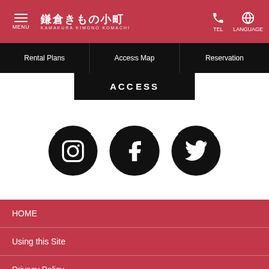鎌倉きもの小町 KAMAKURA KIMONO KOMACHI
Rental Plans | Access Map | Reservation
ACCESS
[Figure (illustration): Three social media icons (Instagram, Facebook, Twitter) as white icons on black circles]
HOME
Using this Site
Privacy Policy
Site Map
Copyright © Kamakura kimono Komachi. All rights reserved.